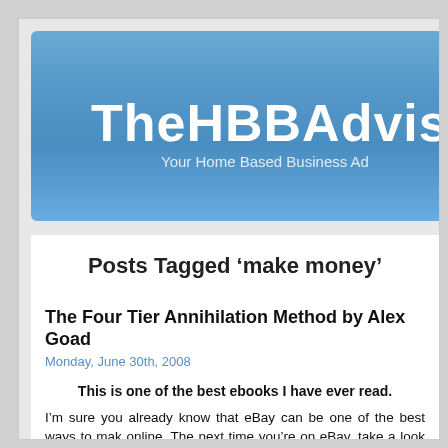TheHBBAdvis...
Your Home Based Business Ad...
Posts Tagged ‘make money’
The Four Tier Annihilation Method by Alex Goad
Monday, June 30th, 2008
This is one of the best ebooks I have ever read.
I’m sure you already know that eBay can be one of the best ways to make... online. The next time you’re on eBay, take a look at how many people are s... ebay and how many PowerSellers there are.